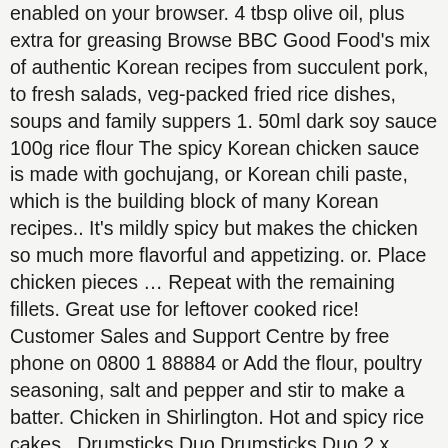enabled on your browser. 4 tbsp olive oil, plus extra for greasing Browse BBC Good Food's mix of authentic Korean recipes from succulent pork, to fresh salads, veg-packed fried rice dishes, soups and family suppers 1. 50ml dark soy sauce 100g rice flour The spicy Korean chicken sauce is made with gochujang, or Korean chili paste, which is the building block of many Korean recipes.. It's mildly spicy but makes the chicken so much more flavorful and appetizing. or. Place chicken pieces … Repeat with the remaining fillets. Great use for leftover cooked rice! Customer Sales and Support Centre by free phone on 0800 1 88884 or Add the flour, poultry seasoning, salt and pepper and stir to make a batter. Chicken in Shirlington. Hot and spicy rice cakes . Drumsticks Duo Drumsticks Duo 2 x Original drumsticks with mustard sauce, chips and choice of garden salad or coleslaw. Gold Cheese. Email or Phone: Password: … Korean Restaurant. Accessibility Help. Kimchi-jjigae. Informal, strip-mall restaurant featuring classic Korean dishes, modern space. Remove the chicken from the marinade, season and